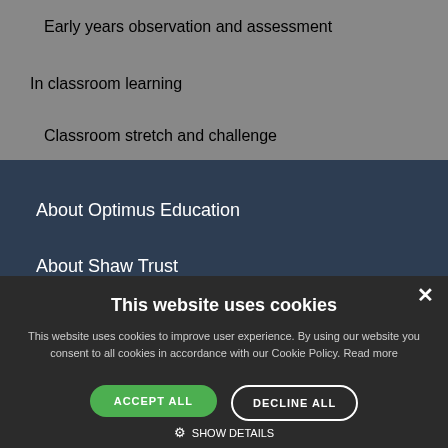Early years observation and assessment
In classroom learning
Classroom stretch and challenge
About Optimus Education
About Shaw Trust
Bl...
This website uses cookies
This website uses cookies to improve user experience. By using our website you consent to all cookies in accordance with our Cookie Policy. Read more
ACCEPT ALL
DECLINE ALL
SHOW DETAILS